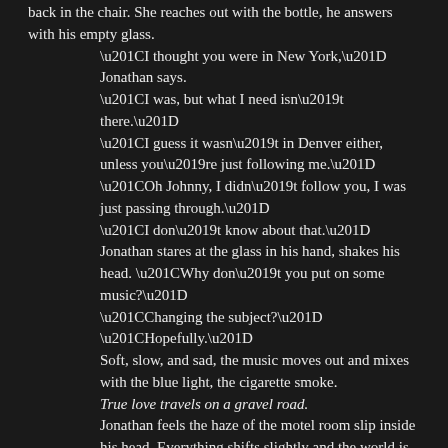back in the chair. She reaches out with the bottle, he answers with his empty glass.
	“I thought you were in New York,” Jonathan says.
	“I was, but what I need isn’t there.”
	“I guess it wasn’t in Denver either, unless you’re just following me.”
	“Oh Johnny, I didn’t follow you, I was just passing through.”
	“I don’t know about that.” Jonathan stares at the glass in his hand, shakes his head. “Why don’t you put on some music?”
	“Changing the subject?”
	“Hopefully.”
	Soft, slow, and sad, the music moves out and mixes with the blue light, the cigarette smoke.
	True love travels on a gravel road.
	Jonathan feels the haze of the motel room slip inside his head. Everything shifts slightly and the world is pushed into a soft blur. It’s kind of relaxing.
	Pandora stands next to him and puts a hand on his back.